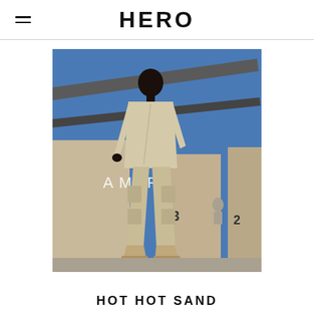HERO
[Figure (photo): Fashion editorial photo: A tall Black male model wearing a khaki/beige utility jacket and cargo pants with 'AMIRI' branding visible in the background. The setting appears to be an outdoor concrete structure with a blue sky. The model is walking forward wearing sand-colored boots.]
HOT HOT SAND